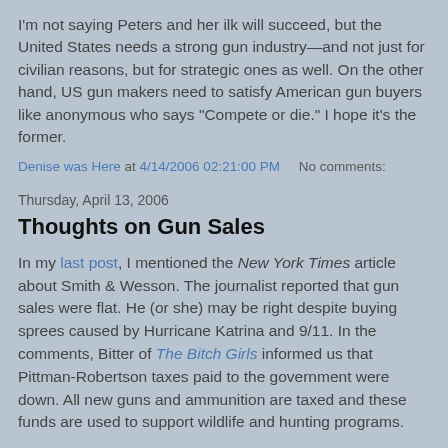I'm not saying Peters and her ilk will succeed, but the United States needs a strong gun industry—and not just for civilian reasons, but for strategic ones as well. On the other hand, US gun makers need to satisfy American gun buyers like anonymous who says "Compete or die." I hope it's the former.
Denise was Here at 4/14/2006 02:21:00 PM     No comments:
Thursday, April 13, 2006
Thoughts on Gun Sales
In my last post, I mentioned the New York Times article about Smith & Wesson. The journalist reported that gun sales were flat. He (or she) may be right despite buying sprees caused by Hurricane Katrina and 9/11. In the comments, Bitter of The Bitch Girls informed us that Pittman-Robertson taxes paid to the government were down. All new guns and ammunition are taxed and these funds are used to support wildlife and hunting programs.